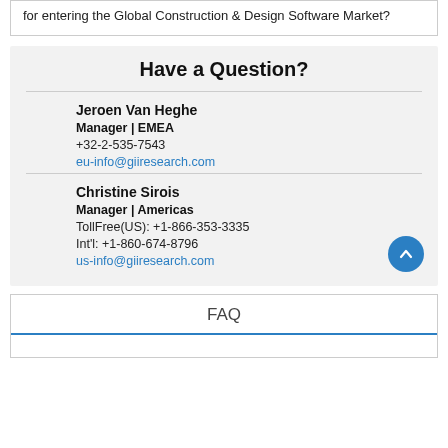for entering the Global Construction & Design Software Market?
Have a Question?
Jeroen Van Heghe
Manager | EMEA
+32-2-535-7543
eu-info@giiresearch.com
Christine Sirois
Manager | Americas
TollFree(US): +1-866-353-3335
Int'l: +1-860-674-8796
us-info@giiresearch.com
FAQ